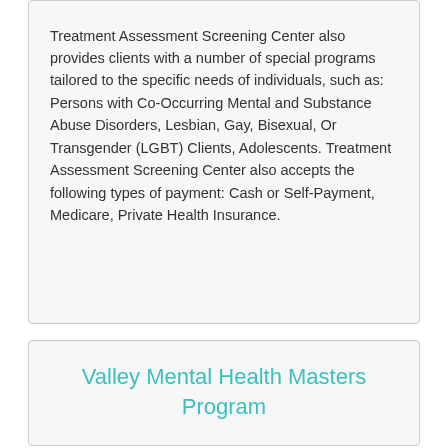Treatment Assessment Screening Center also provides clients with a number of special programs tailored to the specific needs of individuals, such as: Persons with Co-Occurring Mental and Substance Abuse Disorders, Lesbian, Gay, Bisexual, Or Transgender (LGBT) Clients, Adolescents. Treatment Assessment Screening Center also accepts the following types of payment: Cash or Self-Payment, Medicare, Private Health Insurance.
Valley Mental Health Masters Program